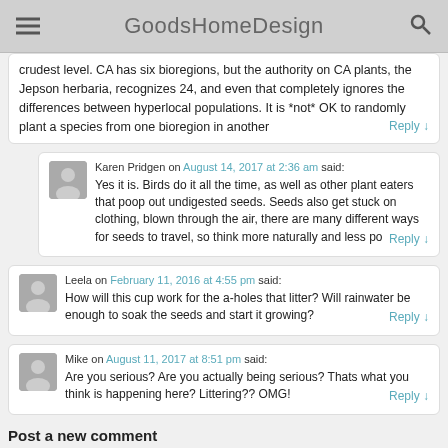GoodsHomeDesign
crudest level. CA has six bioregions, but the authority on CA plants, the Jepson herbaria, recognizes 24, and even that completely ignores the differences between hyperlocal populations. It is *not* OK to randomly plant a species from one bioregion in another
Karen Pridgen on August 14, 2017 at 2:36 am said:
Yes it is. Birds do it all the time, as well as other plant eaters that poop out undigested seeds. Seeds also get stuck on clothing, blown through the air, there are many different ways for seeds to travel, so think more naturally and less po
Leela on February 11, 2016 at 4:55 pm said:
How will this cup work for the a-holes that litter? Will rainwater be enough to soak the seeds and start it growing?
Mike on August 11, 2017 at 8:51 pm said:
Are you serious? Are you actually being serious? Thats what you think is happening here? Littering?? OMG!
Post a new comment
Your email will not be published.